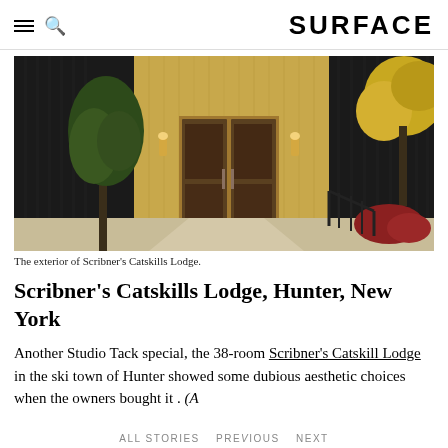SURFACE
[Figure (photo): Exterior of Scribner's Catskills Lodge showing a dark black corrugated metal facade with a warm wood-clad entryway, glass double doors, wall sconces, and surrounding autumn trees.]
The exterior of Scribner's Catskills Lodge.
Scribner's Catskills Lodge, Hunter, New York
Another Studio Tack special, the 38-room Scribner's Catskill Lodge in the ski town of Hunter showed some dubious aesthetic choices when the owners bought it . (A
ALL STORIES   PREVIOUS   NEXT